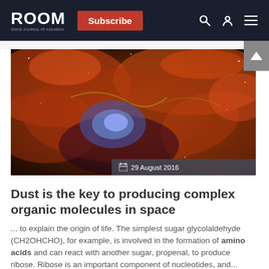ROOM — Subscribe
[Figure (photo): Space nebula image showing colorful cosmic dust clouds in red, orange, and blue tones. Date badge overlay: 29 August 2016]
Dust is the key to producing complex organic molecules in space
... to explain the origin of life. The simplest sugar glycolaldehyde (CH2OHCHO), for example, is involved in the formation of amino acids and can react with another sugar, propenal, to produce ribose. Ribose is an important component of nucleotides, and...
amino acids
complex organic molecules
glycolaldehyde
Green Bank Telescope